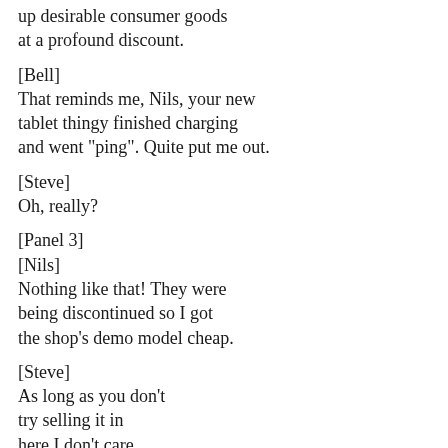up desirable consumer goods
at a profound discount.
[Bell]
That reminds me, Nils, your new
tablet thingy finished charging
and went "ping". Quite put me out.
[Steve]
Oh, really?
[Panel 3]
[Nils]
Nothing like that! They were
being discontinued so I got
the shop's demo model cheap.
[Steve]
As long as you don't
try selling it in
here I don't care.
[Bell]
There was that bloke
with the suitcase